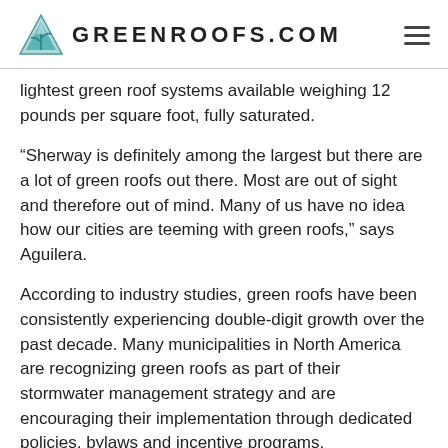GREENROOFS.COM
lightest green roof systems available weighing 12 pounds per square foot, fully saturated.
“Sherway is definitely among the largest but there are a lot of green roofs out there. Most are out of sight and therefore out of mind. Many of us have no idea how our cities are teeming with green roofs,” says Aguilera.
According to industry studies, green roofs have been consistently experiencing double-digit growth over the past decade. Many municipalities in North America are recognizing green roofs as part of their stormwater management strategy and are encouraging their implementation through dedicated policies, bylaws and incentive programs.
One impetus for Toronto becoming greener is the successful partnership between the City and building owners. In addition to the city’s Green Roof Bylaw, the